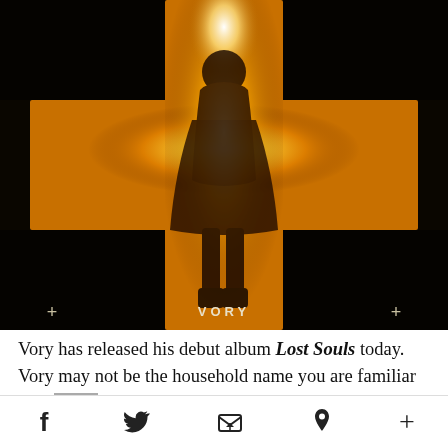[Figure (photo): Album cover for 'Lost Souls' by Vory. A silhouette of a person standing in front of a glowing yellow cross shape against a dark background. The text 'VORY' appears at the bottom center with '+' symbols on each side.]
Vory has released his debut album Lost Souls today. Vory may not be the household name you are familiar with [redacted] is
f  [twitter]  [email]  [pinterest]  +